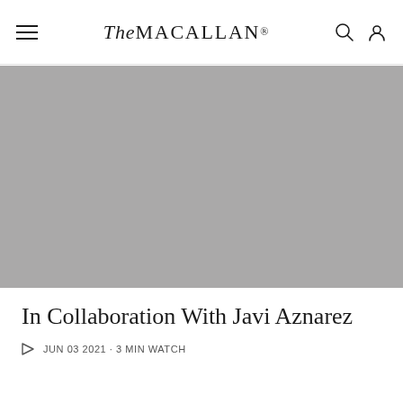The Macallan®
[Figure (photo): Large grey placeholder hero image for a video article about collaboration with Javi Aznarez]
In Collaboration With Javi Aznarez
JUN 03 2021 · 3 MIN WATCH